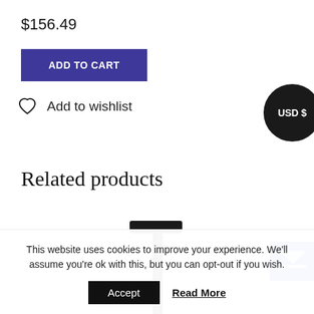$156.49
ADD TO CART
Add to wishlist
USD $
Related products
[Figure (photo): A black product (appears to be a stand or mount) photographed against white background]
This website uses cookies to improve your experience. We'll assume you're ok with this, but you can opt-out if you wish.
Accept
Read More